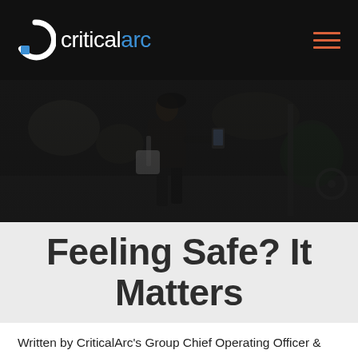criticalarc
[Figure (photo): Dark background photo of a woman walking at night holding a smartphone, with a bag over her shoulder. Outdoor urban setting with blurred lights.]
Feeling Safe? It Matters
Written by CriticalArc's Group Chief Operating Officer &